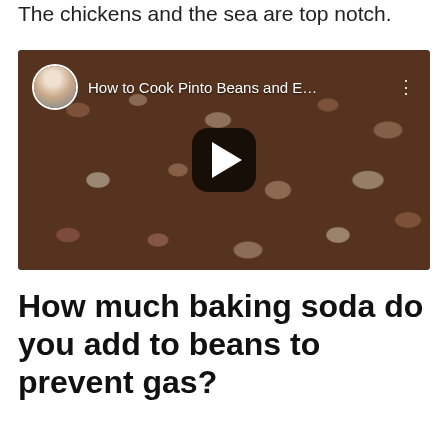The chickens and the sea are top notch.
[Figure (screenshot): YouTube-style embedded video thumbnail showing pinto beans cooking, with a play button overlay and title 'How to Cook Pinto Beans and E...']
How much baking soda do you add to beans to prevent gas?